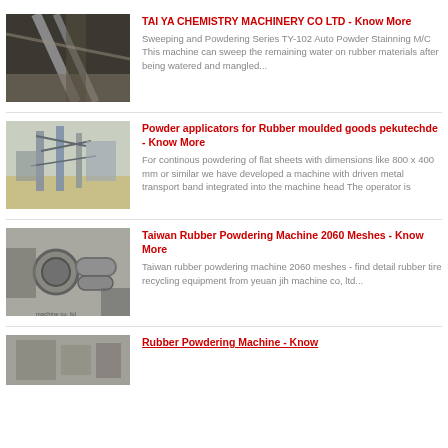[Figure (photo): Industrial conveyor belt machinery, dark metal structure]
TAI YA CHEMISTRY MACHINERY CO LTD - Know More
Sweeping and Powdering Series TY-102 Auto Powder Stainning M/C This machine can sweep the remaining water on rubber materials after being watered and mangled...
[Figure (photo): Industrial structural steel scaffolding and machinery construction site]
Powder applicators for Rubber moulded goods pekutechde - Know More
For continous powdering of flat sheets with dimensions like 800 x 400 mm or similar we have developed a machine with driven metal transport band integrated into the machine head The operator is
[Figure (photo): Industrial rubber powdering machine pipes and equipment]
Taiwan Rubber Powdering Machine 2060 Meshes - Know More
Taiwan rubber powdering machine 2060 meshes - find detail rubber tire recycling equipment from yeuan jih machine co, ltd...
[Figure (photo): Industrial rubber powdering machine equipment]
Rubber Powdering Machine - Know More